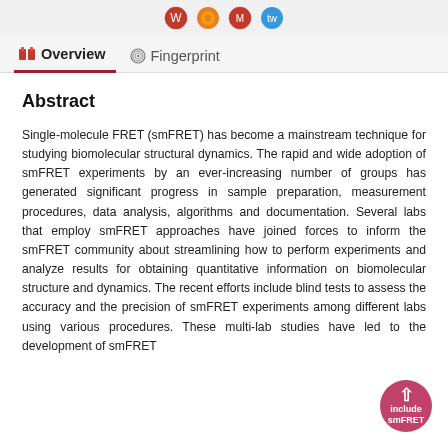[Figure (other): Top bar with colored social/badge icons on a light gray background]
Overview
Fingerprint
Abstract
Single-molecule FRET (smFRET) has become a mainstream technique for studying biomolecular structural dynamics. The rapid and wide adoption of smFRET experiments by an ever-increasing number of groups has generated significant progress in sample preparation, measurement procedures, data analysis, algorithms and documentation. Several labs that employ smFRET approaches have joined forces to inform the smFRET community about streamlining how to perform experiments and analyze results for obtaining quantitative information on biomolecular structure and dynamics. The recent efforts include blind tests to assess the accuracy and the precision of smFRET experiments among different labs using various procedures. These multi-lab studies have led to the development of smFRET